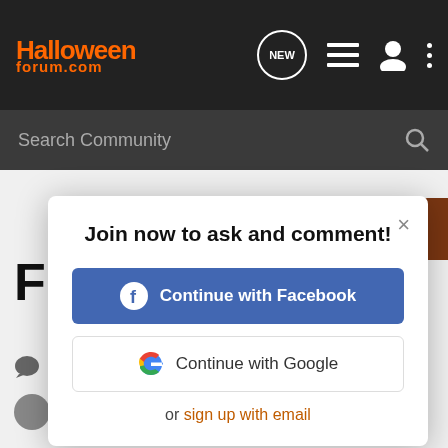[Figure (screenshot): HalloweenForum.com website header with dark background, orange logo, and navigation icons including NEW chat bubble, list, user, and more icons]
Search Community
[Figure (screenshot): Modal dialog overlay: Join now to ask and comment! with Continue with Facebook button, Continue with Google button, and or sign up with email link]
Join now to ask and comment!
Continue with Facebook
Continue with Google
or sign up with email
318   38K
Saki.Girl · updated Nov 28, 2016